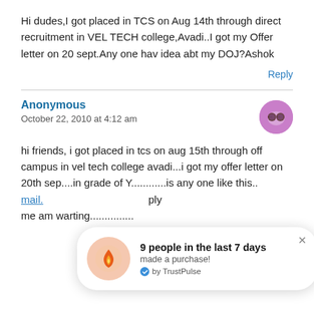Hi dudes,I got placed in TCS on Aug 14th through direct recruitment in VEL TECH college,Avadi..I got my Offer letter on 20 sept.Any one hav idea abt my DOJ?Ashok
Reply
Anonymous
October 22, 2010 at 4:12 am
hi friends, i got placed in tcs on aug 15th through off campus in vel tech college avadi...i got my offer letter on 20th sep....in grade of Y............is any one like this.. mail. ply me am warting...............
[Figure (infographic): TrustPulse popup notification showing '9 people in the last 7 days made a purchase! by TrustPulse' with a flame icon on a peach/salmon circle background]